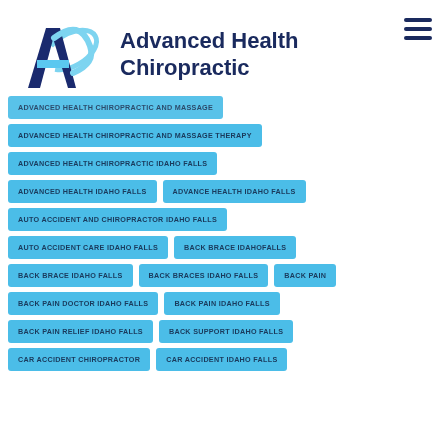[Figure (logo): Advanced Health Chiropractic logo with blue A-shaped graphic and company name]
ADVANCED HEALTH CHIROPRACTIC AND MASSAGE
ADVANCED HEALTH CHIROPRACTIC AND MASSAGE THERAPY
ADVANCED HEALTH CHIROPRACTIC IDAHO FALLS
ADVANCED HEALTH IDAHO FALLS
ADVANCE HEALTH IDAHO FALLS
AUTO ACCIDENT AND CHIROPRACTOR IDAHO FALLS
AUTO ACCIDENT CARE IDAHO FALLS
BACK BRACE IDAHOFALLS
BACK BRACE IDAHO FALLS
BACK BRACES IDAHO FALLS
BACK PAIN
BACK PAIN DOCTOR IDAHO FALLS
BACK PAIN IDAHO FALLS
BACK PAIN RELIEF IDAHO FALLS
BACK SUPPORT IDAHO FALLS
CAR ACCIDENT CHIROPRACTOR
CAR ACCIDENT IDAHO FALLS